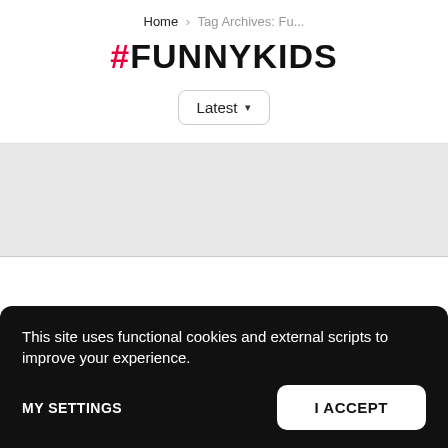Home › Tag Archives: Fu...
#FUNNYKIDS
Latest ▾
[Figure (other): Gray placeholder/ad area]
This site uses functional cookies and external scripts to improve your experience.
MY SETTINGS
I ACCEPT